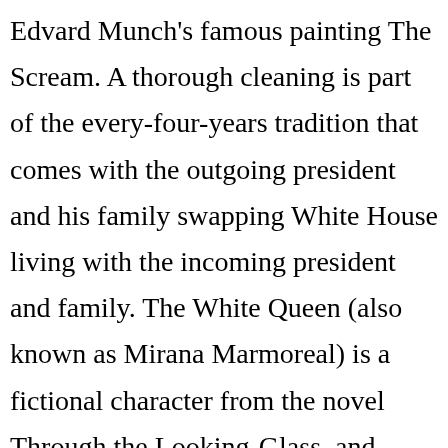Edvard Munch's famous painting The Scream. A thorough cleaning is part of the every-four-years tradition that comes with the outgoing president and his family swapping White House living with the incoming president and family. The White Queen (also known as Mirana Marmoreal) is a fictional character from the novel Through the Looking-Glass, and What Alice Found There by Lewis Carroll. A bright white light bursts in the center of the Lecture Hall and purple lights seems to appear around the Hall. Belligerent masculinity as a coping mechanism against repressed grief or